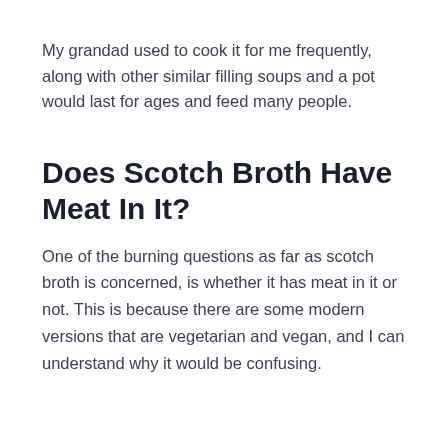My grandad used to cook it for me frequently, along with other similar filling soups and a pot would last for ages and feed many people.
Does Scotch Broth Have Meat In It?
One of the burning questions as far as scotch broth is concerned, is whether it has meat in it or not. This is because there are some modern versions that are vegetarian and vegan, and I can understand why it would be confusing.